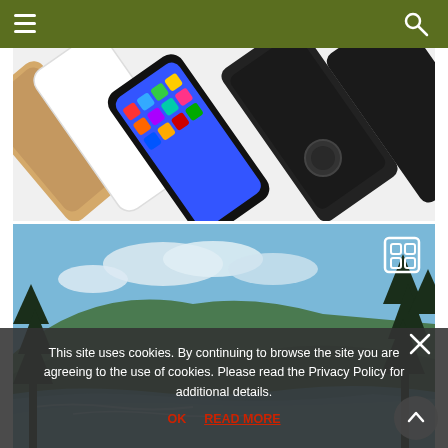Navigation header with hamburger menu and search icon
[Figure (photo): Multiple smartphones arranged diagonally including iPhones and a dark Android phone (Google Pixel), showing various colors gold, white, black with home screens visible]
[Figure (photo): Aerial coastal landscape photograph showing a curving beach with mountains covered in green forest, blue ocean waves, and conifer trees in the foreground under a blue sky with clouds]
This site uses cookies. By continuing to browse the site you are agreeing to the use of cookies. Please read the Privacy Policy for additional details.
OK   READ MORE